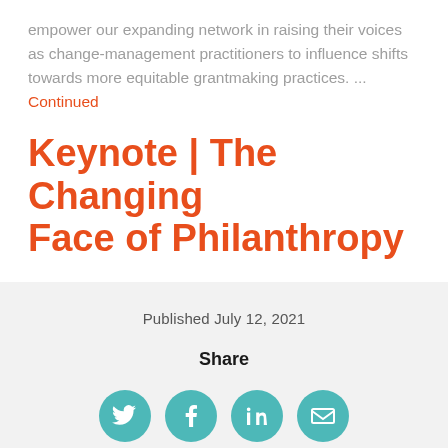empower our expanding network in raising their voices as change-management practitioners to influence shifts towards more equitable grantmaking practices. ... Continued
Keynote | The Changing Face of Philanthropy
Published July 12, 2021
Share
[Figure (illustration): Four circular social media icons in teal: Twitter bird, Facebook f, LinkedIn in, and email envelope]